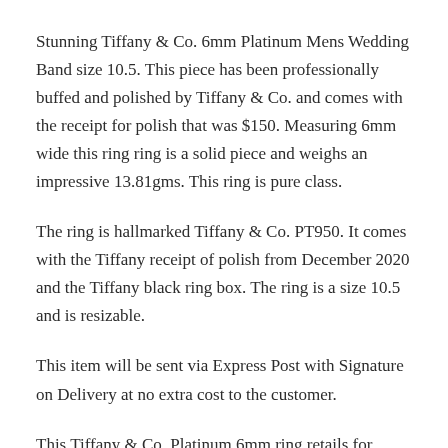Stunning Tiffany & Co. 6mm Platinum Mens Wedding Band size 10.5. This piece has been professionally buffed and polished by Tiffany & Co. and comes with the receipt for polish that was $150. Measuring 6mm wide this ring ring is a solid piece and weighs an impressive 13.81gms. This ring is pure class.
The ring is hallmarked Tiffany & Co. PT950. It comes with the Tiffany receipt of polish from December 2020 and the Tiffany black ring box. The ring is a size 10.5 and is resizable.
This item will be sent via Express Post with Signature on Delivery at no extra cost to the customer.
This Tiffany & Co. Platinum 6mm ring retails for $4450.
The asking price for this very solid Tiffany Tiffany & Co.